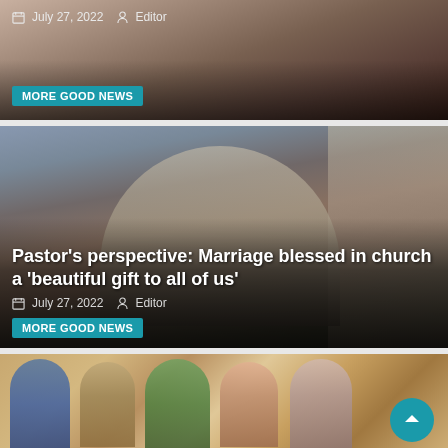[Figure (photo): Partial view of a wedding/church scene, top portion only visible]
July 27, 2022   Editor
MORE GOOD NEWS
[Figure (photo): A pastor/priest in white robes speaking into a microphone inside an ornate church]
Pastor's perspective: Marriage blessed in church a 'beautiful gift to all of us'
July 27, 2022   Editor
MORE GOOD NEWS
[Figure (photo): A religious mosaic or artwork depicting biblical figures including Jesus and other figures]